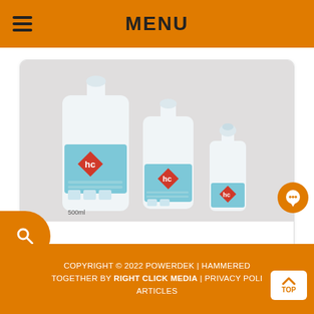MENU
[Figure (photo): Three HC-branded hand sanitizer bottles of different sizes (500ml, medium, and small roll-on) with light blue labels showing the 'hc' logo and usage instructions. Bottles are clear plastic with flip-top or roll-on caps.]
Sanitizer liquid flip
COPYRIGHT © 2022 POWERDEK | HAMMERED TOGETHER BY RIGHT CLICK MEDIA | PRIVACY POLI | ARTICLES